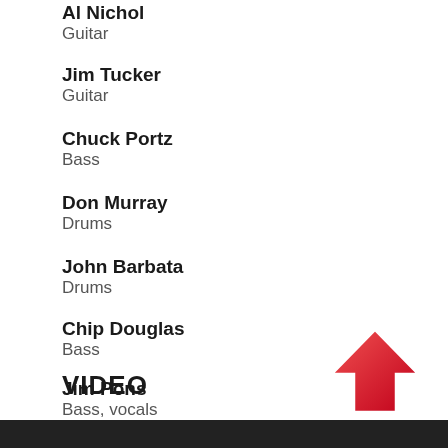Al Nichol
Guitar
Jim Tucker
Guitar
Chuck Portz
Bass
Don Murray
Drums
John Barbata
Drums
Chip Douglas
Bass
Jim Pons
Bass, vocals
VIDEO
[Figure (illustration): Red upward-pointing arrow icon]
[Figure (screenshot): Black video player bar at bottom of page]